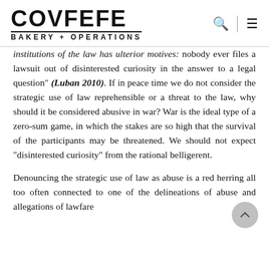COVFEFE BAKERY + OPERATIONS
institutions of the law has ulterior motives: nobody ever files a lawsuit out of disinterested curiosity in the answer to a legal question" (Luban 2010). If in peace time we do not consider the strategic use of law reprehensible or a threat to the law, why should it be considered abusive in war? War is the ideal type of a zero-sum game, in which the stakes are so high that the survival of the participants may be threatened. We should not expect “disinterested curiosity” from the rational belligerent.
Denouncing the strategic use of law as abuse is a red herring all too often connected to one of the delineations of abuse and allegations of lawfare